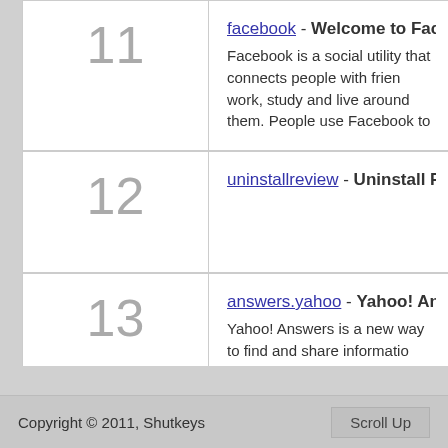11 - facebook - Welcome to Facebook. Facebook is a social utility that connects people with friends and others who work, study and live around them. People use Facebook to...
12 - uninstallreview - Uninstall Review
13 - answers.yahoo - Yahoo! Answers - Home. Yahoo! Answers is a new way to find and share information. You can ask questions on any topic, get answers from real people, and share your insights and experience a...
Copyright © 2011, Shutkeys    Scroll Up